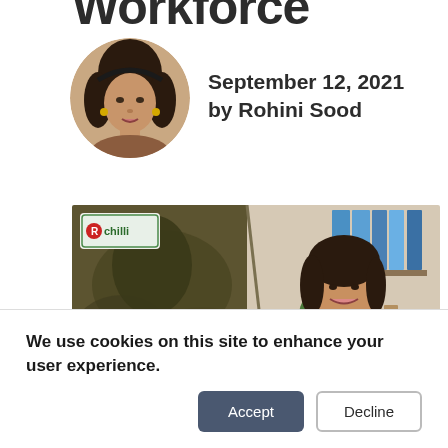Workforce
September 12, 2021 by Rohini Sood
[Figure (photo): Circular portrait photo of Rohini Sood, a woman with dark hair]
[Figure (photo): HRTech Conference and banner image with a woman in an office giving thumbs up, with a logo in the top left corner reading 'chill']
We use cookies on this site to enhance your user experience.
Accept
Decline